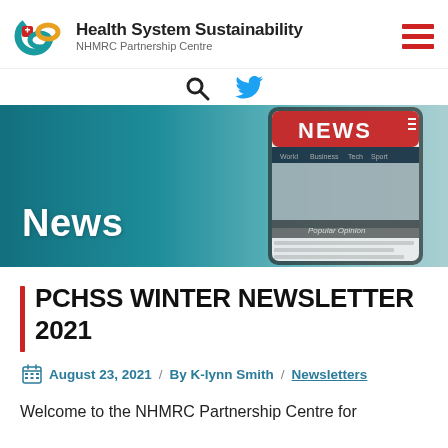Health System Sustainability
NHMRC Partnership Centre
[Figure (photo): Banner image with teal gradient background showing a smartphone displaying a news website with the word NEWS visible, and the text 'News' overlaid in white on the left]
PCHSS WINTER NEWSLETTER 2021
August 23, 2021 / By K-lynn Smith / Newsletters
Welcome to the NHMRC Partnership Centre for